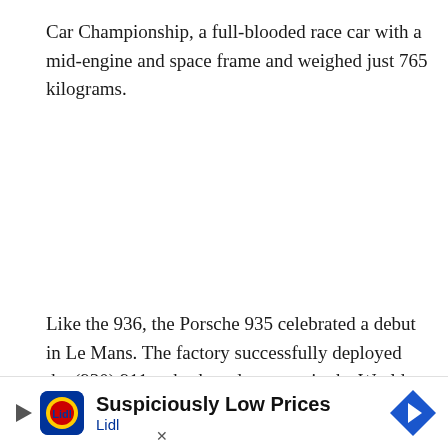Car Championship, a full-blooded race car with a mid-engine and space frame and weighed just 765 kilograms.
Like the 936, the Porsche 935 celebrated a debut in Le Mans. The factory successfully deployed the (930) 911 turbo-based race car in the World Championship for Makes (Group 5).
This ra… n the rear w…
[Figure (other): Lidl advertisement banner: 'Suspiciously Low Prices' with Lidl logo and a blue navigation arrow icon]